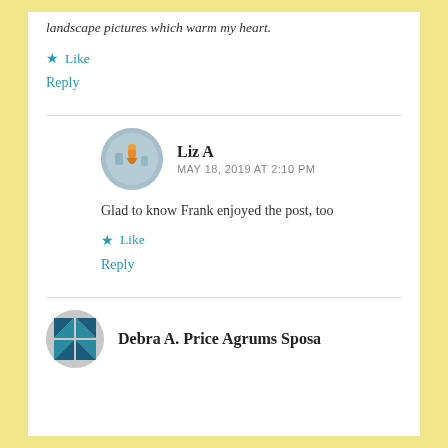landscape pictures which warm my heart.
★ Like
Reply
Liz A
MAY 18, 2019 AT 2:10 PM
Glad to know Frank enjoyed the post, too
★ Like
Reply
Debra A. Price Agrums Sposa